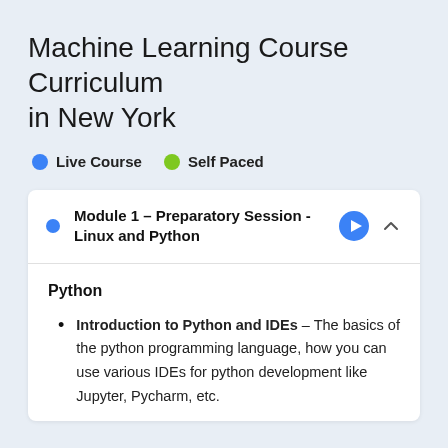Machine Learning Course Curriculum in New York
Live Course   Self Paced
Module 1 – Preparatory Session - Linux and Python
Python
Introduction to Python and IDEs – The basics of the python programming language, how you can use various IDEs for python development like Jupyter, Pycharm, etc.